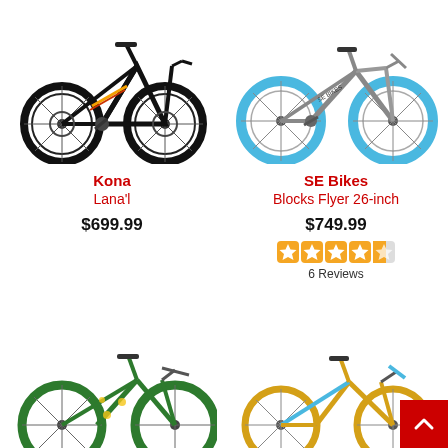[Figure (photo): Black mountain bike - Kona Lana'l, left side view]
[Figure (photo): Grey and blue BMX/cruiser bike - SE Bikes Blocks Flyer 26-inch, left side view]
Kona
Lana'l
$699.99
SE Bikes
Blocks Flyer 26-inch
$749.99
[Figure (other): 4.5 star rating displayed as orange star icons]
6 Reviews
[Figure (photo): Green cruiser bike - partial view, bottom of page]
[Figure (photo): Yellow/gold BMX bike - partial view, bottom of page]